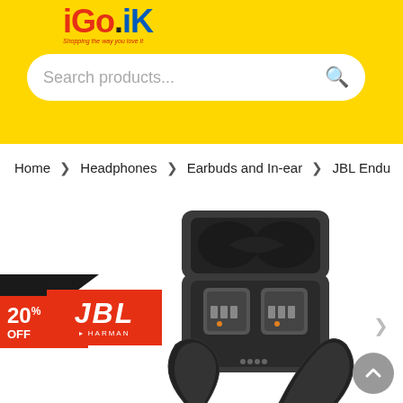iGo.ik - Shopping the way you love it
Search products...
Home > Headphones > Earbuds and In-ear > JBL Endu...
[Figure (photo): JBL earbuds in open charging case, and earbuds without case below]
[Figure (logo): JBL by HARMAN brand logo with 20% OFF discount badge]